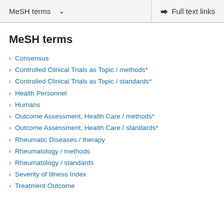MeSH terms  ∨   Full text links
MeSH terms
Consensus
Controlled Clinical Trials as Topic / methods*
Controlled Clinical Trials as Topic / standards*
Health Personnel
Humans
Outcome Assessment, Health Care / methods*
Outcome Assessment, Health Care / standards*
Rheumatic Diseases / therapy
Rheumatology / methods
Rheumatology / standards
Severity of Illness Index
Treatment Outcome